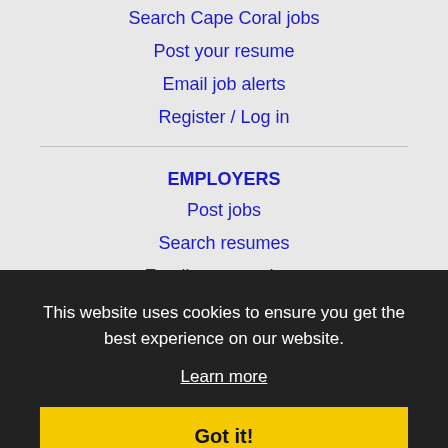Search Cape Coral jobs
Post your resume
Email job alerts
Register / Log in
EMPLOYERS
Post jobs
Search resumes
Email resume alerts
Advertise
This website uses cookies to ensure you get the best experience on our website.
Learn more
IMMIGRATION SPECIALISTS
Post jobs
Immigration FAQs
Learn more
Got it!